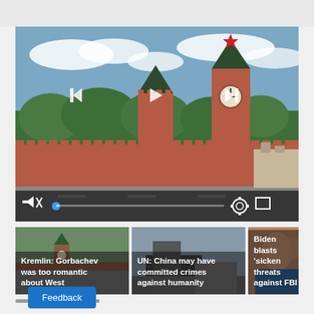[Figure (screenshot): Video player showing Kremlin/Red Square scene with playback controls (rewind, play, fast-forward), mute icon, progress bar with blue dot, settings gear, and fullscreen icon]
[Figure (photo): Thumbnail 1: Kremlin tower - Kremlin: Gorbachev was too romantic about West]
Kremlin: Gorbachev was too romantic about West
[Figure (photo): Thumbnail 2: UN: China may have committed crimes against humanity]
UN: China may have committed crimes against humanity
[Figure (photo): Thumbnail 3: Biden blasts 'sicken threats against FBI]
Biden blasts 'sicken threats against FBI
Feedback